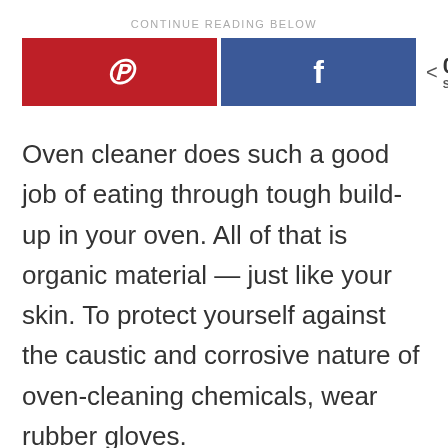CONTINUE READING BELOW
[Figure (infographic): Social share buttons: Pinterest (red) and Facebook (blue), with a share count showing 0 SHARES]
Oven cleaner does such a good job of eating through tough build-up in your oven. All of that is organic material — just like your skin. To protect yourself against the caustic and corrosive nature of oven-cleaning chemicals, wear rubber gloves.
Is oven cleaner necessary?